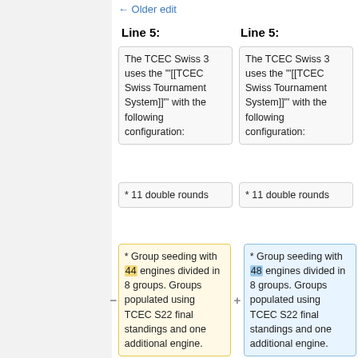← Older edit
Line 5: (left)
Line 5: (right)
The TCEC Swiss 3 uses the '"[[TCEC Swiss Tournament System]]"' with the following configuration:
The TCEC Swiss 3 uses the '"[[TCEC Swiss Tournament System]]"' with the following configuration:
* 11 double rounds
* 11 double rounds
* Group seeding with 44 engines divided in 8 groups. Groups populated using TCEC S22 final standings and one additional engine.
* Group seeding with 48 engines divided in 8 groups. Groups populated using TCEC S22 final standings and one additional engine.